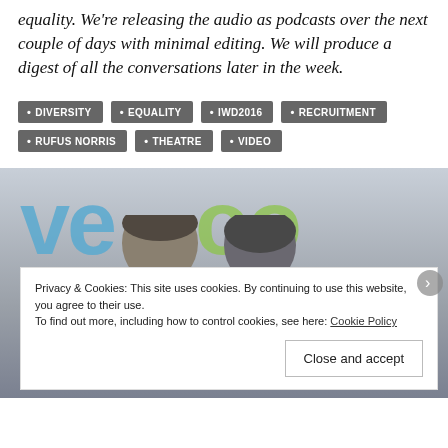equality. We're releasing the audio as podcasts over the next couple of days with minimal editing. We will produce a digest of all the conversations later in the week.
DIVERSITY
EQUALITY
IWD2016
RECRUITMENT
RUFUS NORRIS
THEATRE
VIDEO
[Figure (photo): Photo of two people in front of a 'veoo' branded background, with a cookie consent banner overlaid at the bottom.]
Privacy & Cookies: This site uses cookies. By continuing to use this website, you agree to their use. To find out more, including how to control cookies, see here: Cookie Policy
Close and accept